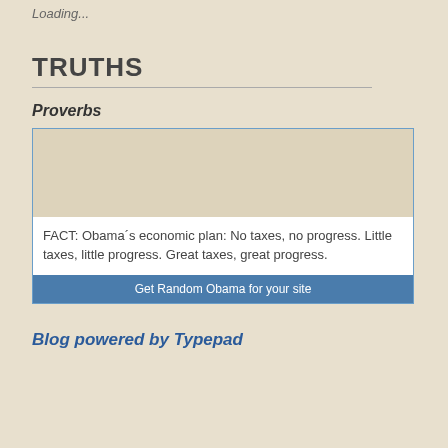Loading...
TRUTHS
Proverbs
[Figure (screenshot): A widget box with a beige/tan image area at top, followed by text reading: FACT: Obama´s economic plan: No taxes, no progress. Little taxes, little progress. Great taxes, great progress. Below that is a blue button labeled 'Get Random Obama for your site'.]
Blog powered by Typepad